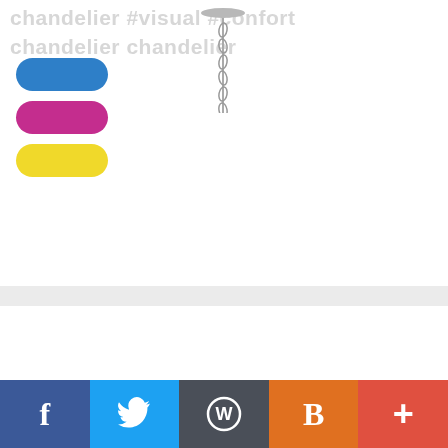chandelier #visual #confort chandelier chandelier
[Figure (logo): Three colored pill/capsule shapes stacked vertically: blue on top, pink/magenta in middle, yellow on bottom — a print/CMY-style logo]
[Figure (photo): A chandelier hanging from ceiling with a metal chain and decorative rod/finial against a white background]
[Figure (infographic): Social media sharing footer bar with five colored sections: Facebook (dark blue, f icon), Twitter (light blue, bird icon), WordPress (grey, W icon), Blogger (orange, B icon), and a plus/share button (red-orange, + icon)]